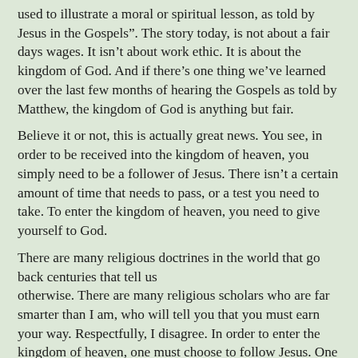used to illustrate a moral or spiritual lesson, as told by Jesus in the Gospels”. The story today, is not about a fair days wages. It isn’t about work ethic. It is about the kingdom of God. And if there’s one thing we’ve learned over the last few months of hearing the Gospels as told by Matthew, the kingdom of God is anything but fair.
Believe it or not, this is actually great news. You see, in order to be received into the kingdom of heaven, you simply need to be a follower of Jesus. There isn’t a certain amount of time that needs to pass, or a test you need to take. To enter the kingdom of heaven, you need to give yourself to God.
There are many religious doctrines in the world that go back centuries that tell us otherwise. There are many religious scholars who are far smarter than I am, who will tell you that you must earn your way. Respectfully, I disagree. In order to enter the kingdom of heaven, one must choose to follow Jesus. One must choose to live their life as Jesus lived his life. Putting others ahead of yourself. Treating everyone kindly. Not showing favouritism. Wearing a mask. Speaking up for those who don’t have a voice. Speaking out against injustice. Caring for widows and orphans. Spending time with the lonely and the sick. Etc.